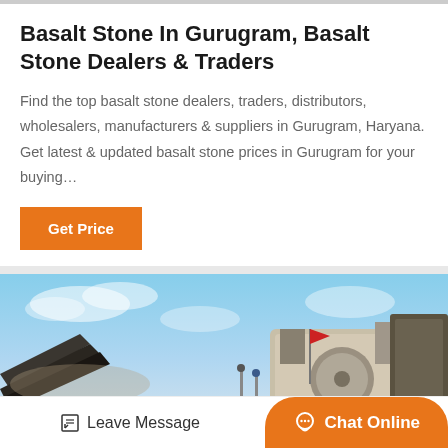Basalt Stone In Gurugram, Basalt Stone Dealers & Traders
Find the top basalt stone dealers, traders, distributors, wholesalers, manufacturers & suppliers in Gurugram, Haryana. Get latest & updated basalt stone prices in Gurugram for your buying…
Get Price
[Figure (photo): Industrial stone crushing machinery photographed against a blue sky, with a red flag visible on equipment and a large stone crusher/processing machine in the foreground with conveyor belts and dust.]
Leave Message   Chat Online